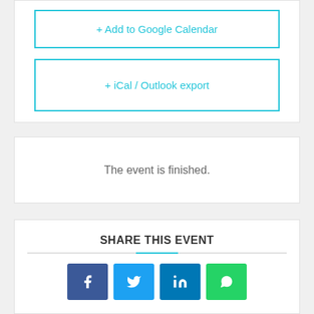+ Add to Google Calendar
+ iCal / Outlook export
The event is finished.
SHARE THIS EVENT
[Figure (other): Social share buttons: Facebook, Twitter, LinkedIn, WhatsApp]